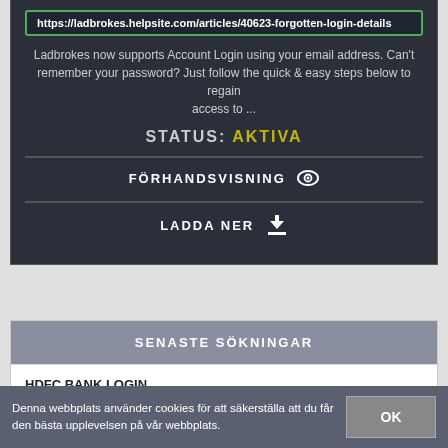https://ladbrokes.helpsite.com/articles/40623-forgotten-login-details
Ladbrokes now supports Account Login using your email address. Can't remember your password? Just follow the quick & easy steps below to regain access to ...
STATUS: AKTIVA
FÖRHANDSVISNING 👁
LADDA NER ⬇
SENASTE SÖKNINGAR
HDFC BANK LOGIN
Denna webbplats använder cookies för att säkerställa att du får den bästa upplevelsen på vår webbplats.
OK